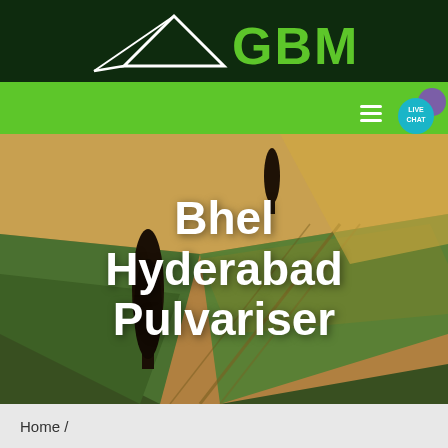GBM logo and navigation header
[Figure (logo): GBM logo with white arrow/kite shape on dark green background with green 'GBM' text]
[Figure (photo): Aerial view of agricultural fields with green and golden tones, dark tree shapes, and diagonal field lines]
Bhel Hyderabad Pulvariser
Home /